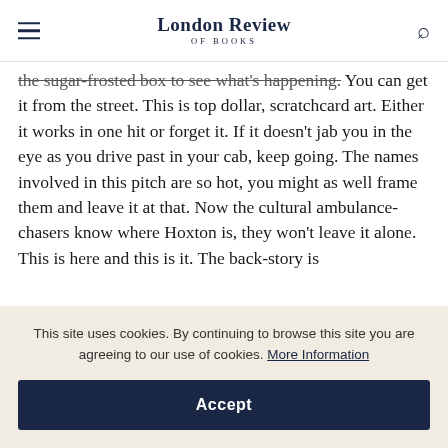London Review of Books
the sugar-frosted box to see what's happening. You can get it from the street. This is top dollar, scratchcard art. Either it works in one hit or forget it. If it doesn't jab you in the eye as you drive past in your cab, keep going. The names involved in this pitch are so hot, you might as well frame them and leave it at that. Now the cultural ambulance-chasers know where Hoxton is, they won't leave it alone. This is here and this is it. The back-story is
This site uses cookies. By continuing to browse this site you are agreeing to our use of cookies. More Information
Accept